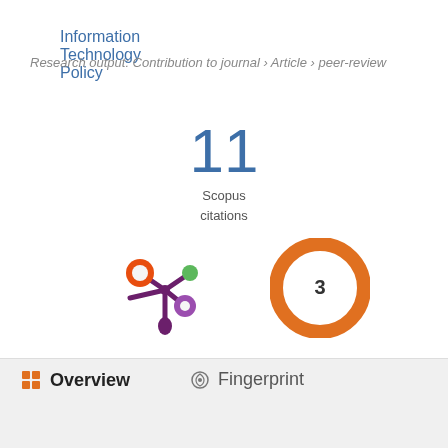Information Technology Policy
Research output: Contribution to journal › Article › peer-review
[Figure (other): Scopus citations count: 11 Scopus citations]
[Figure (infographic): PlumX metrics logo - purple flower/asterisk shape with orange, green, and purple dots]
[Figure (donut-chart): Altmetric score donut chart showing score of 3, orange ring]
Overview
Fingerprint